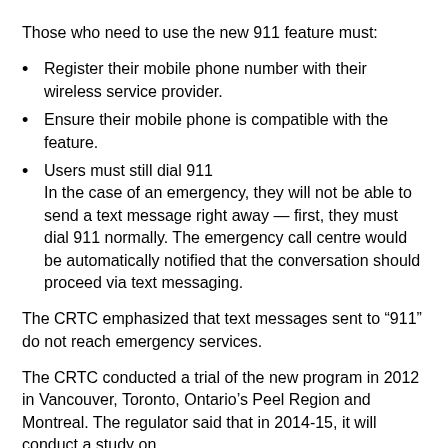Those who need to use the new 911 feature must:
Register their mobile phone number with their wireless service provider.
Ensure their mobile phone is compatible with the feature.
Users must still dial 911
In the case of an emergency, they will not be able to send a text message right away — first, they must dial 911 normally. The emergency call centre would be automatically notified that the conversation should proceed via text messaging.
The CRTC emphasized that text messages sent to “911” do not reach emergency services.
The CRTC conducted a trial of the new program in 2012 in Vancouver, Toronto, Ontario’s Peel Region and Montreal. The regulator said that in 2014-15, it will conduct a study on